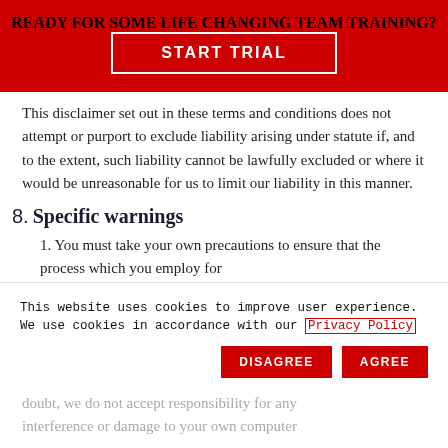READY FOR SOME LIFE CHANGING TEAM TRAINING?
START TRIAL
This disclaimer set out in these terms and conditions does not attempt or purport to exclude liability arising under statute if, and to the extent, such liability cannot be lawfully excluded or where it would be unreasonable for us to limit our liability in this manner.
8. Specific warnings
1. You must take your own precautions to ensure that the process which you employ for
This website uses cookies to improve user experience. We use cookies in accordance with our Privacy Policy
doubt, we do not accept responsibility for any interference or damage to your own computer